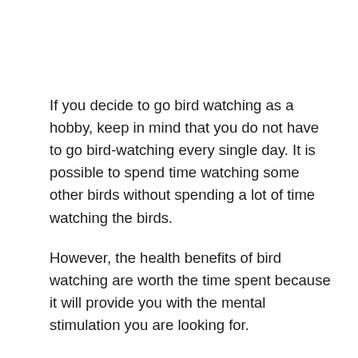If you decide to go bird watching as a hobby, keep in mind that you do not have to go bird-watching every single day. It is possible to spend time watching some other birds without spending a lot of time watching the birds.
However, the health benefits of bird watching are worth the time spent because it will provide you with the mental stimulation you are looking for.